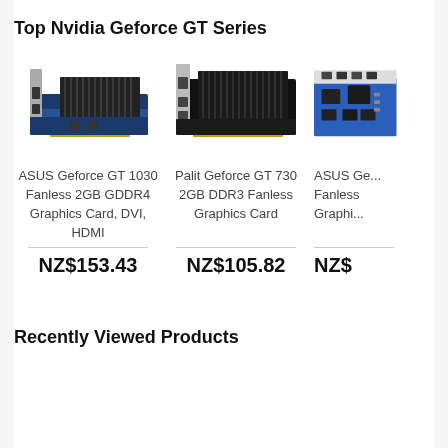Top Nvidia Geforce GT Series
[Figure (photo): ASUS Geforce GT 1030 graphics card product photo - low profile card with heatsink, DVI and HDMI ports, blue PCB]
ASUS Geforce GT 1030 Fanless 2GB GDDR4 Graphics Card, DVI, HDMI
NZ$153.43
[Figure (photo): Palit Geforce GT 730 graphics card product photo - low profile card with black heatsink fins]
Palit Geforce GT 730 2GB DDR3 Fanless Graphics Card
NZ$105.82
[Figure (photo): ASUS Geforce graphics card product photo - partially cropped, showing blue PCB with ports]
ASUS Ge... Fanless... Graphi...
NZ$...
Recently Viewed Products